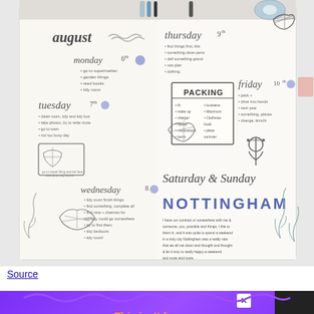[Figure (photo): A photo of an open bullet journal/planner showing handwritten weekly spreads for August. The left page shows Monday 6th, Tuesday 7th, Wednesday 8th with handwritten tasks and doodles of seashells, waves, and a passport/travel motif. The right page shows Thursday 9th, Friday 10th with a 'PACKING' list box, Saturday & Sunday with 'NOTTINGHAM' in block letters, and a paragraph of journaling text. Decorative doodles include seashells, an anchor, and seaweed. Pens and washi tape are visible at the top.]
Source
[Figure (other): Advertisement banner with purple gradient background and orange italic bold text reading 'This isn't forever. It's just right now.' with a close button X and decorative wavy/splash elements. A dark sidebar on the right with an X close icon.]